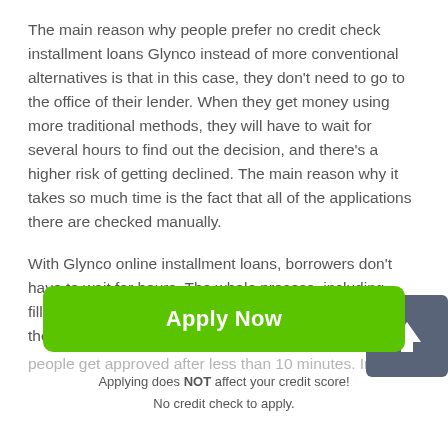The main reason why people prefer no credit check installment loans Glynco instead of more conventional alternatives is that in this case, they don't need to go to the office of their lender. When they get money using more traditional methods, they will have to wait for several hours to find out the decision, and there's a higher risk of getting declined. The main reason why it takes so much time is the fact that all of the applications there are checked manually.
With Glynco online installment loans, borrowers don't have to wait for hours. The whole process, including filling out the form will take less than half an hour, and the application itself is checked automatically. That's why people get approved after less than 10 minutes. In most
[Figure (other): A dark grey rounded square button with an upward-pointing white arrow icon, used as a scroll-to-top button.]
Apply Now
Applying does NOT affect your credit score!
No credit check to apply.